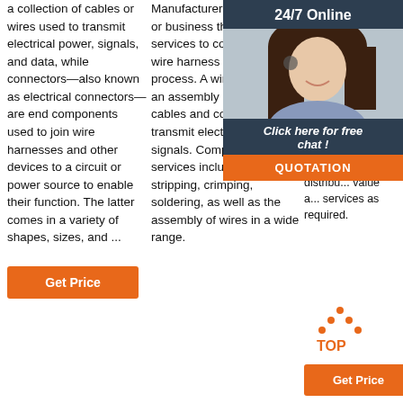a collection of cables or wires used to transmit electrical power, signals, and data, while connectors—also known as electrical connectors—are end components used to join wire harnesses and other devices to a circuit or power source to enable their function. The latter comes in a variety of shapes, sizes, and ...
Manufacturer is a company or business that provides services to complete the wire harness assembly process. A wire harness is an assembly of wires, cables and connectors that transmit electric power or signals. Complete on site services include cutting, stripping, crimping, soldering, as well as the assembly of wires in a wide range.
All printed circuit board, cable/harness, mechanical, and full systems/box build a... are do... same f... Sysco... your pa... can uti... much o... our ma... service... distribu... value a... services as required.
[Figure (photo): 24/7 Online chat overlay with woman wearing headset on dark blue background, with orange QUOTATION button]
[Figure (other): Orange TOP arrow icon]
Get Price
Get Price